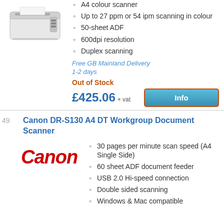[Figure (photo): Document scanner device image (top product)]
A4 colour scanner
Up to 27 ppm or 54 ipm scanning in colour
50-sheet ADF
600dpi resolution
Duplex scanning
Free GB Mainland Delivery
1-2 days
Out of Stock
£425.06 + vat
49
Canon DR-S130 A4 DT Workgroup Document Scanner
[Figure (logo): Canon logo in red]
30 pages per minute scan speed (A4 Single Side)
60 sheet ADF document feeder
USB 2.0 Hi-speed connection
Double sided scanning
Windows & Mac compatible